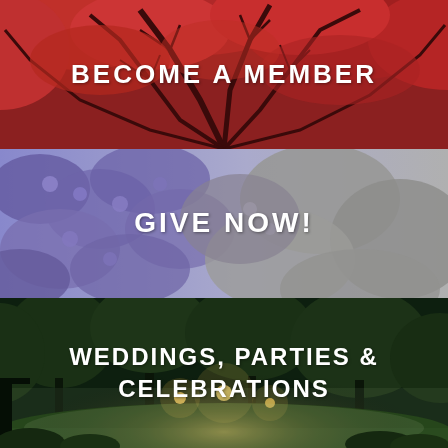[Figure (photo): Red autumn tree canopy viewed from below, branches spreading across the frame]
BECOME A MEMBER
[Figure (photo): Dense purple flowers (possibly jacaranda or hydrangea), transitioning to greyscale on the right]
GIVE NOW!
[Figure (photo): Night-time garden or park scene with green trees lit by warm lights, misty atmosphere]
WEDDINGS, PARTIES & CELEBRATIONS